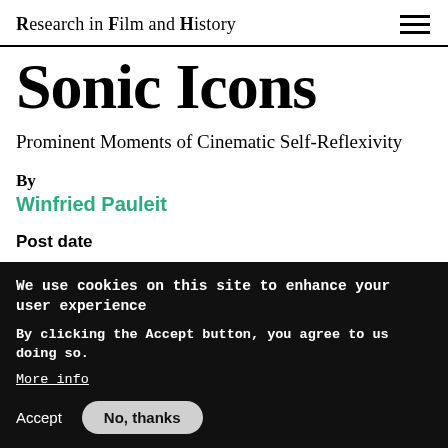Research in Film and History
Sonic Icons
Prominent Moments of Cinematic Self-Reflexivity
By
Winfried Pauleit
Post date
We use cookies on this site to enhance your user experience
By clicking the Accept button, you agree to us doing so.
More info
Accept
No, thanks